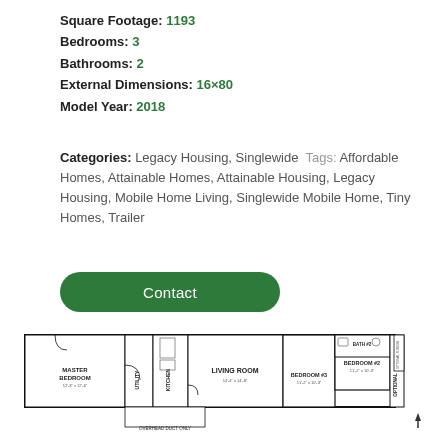Square Footage: 1193
Bedrooms: 3
Bathrooms: 2
External Dimensions: 16×80
Model Year: 2018
Categories: Legacy Housing, Singlewide Tags: Affordable Homes, Attainable Homes, Attainable Housing, Legacy Housing, Mobile Home Living, Singlewide Mobile Home, Tiny Homes, Trailer
Contact
[Figure (engineering-diagram): Floor plan of a 16x80 singlewide mobile home showing Master Bedroom, Master Bath, Utility, Kitchen, Living Room, Bedroom #3, Bedroom #2, Bath #2, and Optional areas. Note: Overhead Duct Only.]